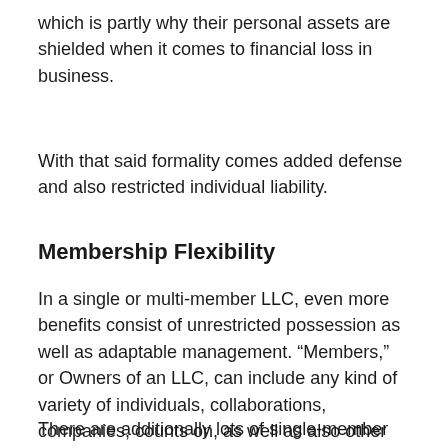which is partly why their personal assets are shielded when it comes to financial loss in business.
With that said formality comes added defense and also restricted individual liability.
Membership Flexibility
In a single or multi-member LLC, even more benefits consist of unrestricted possession as well as adaptable management. “Members,” or Owners of an LLC, can include any kind of variety of individuals, collaborations, companies, counts on, as well as also other LLCs.
There are additionally lots of single-member